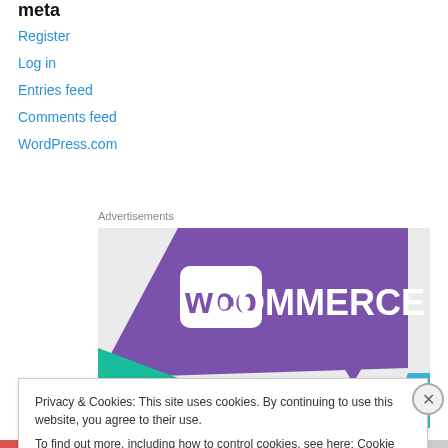meta
Register
Log in
Entries feed
Comments feed
WordPress.com
Advertisements
[Figure (logo): WooCommerce advertisement banner with purple background and teal/blue geometric shapes]
Privacy & Cookies: This site uses cookies. By continuing to use this website, you agree to their use.
To find out more, including how to control cookies, see here: Cookie Policy
Close and accept